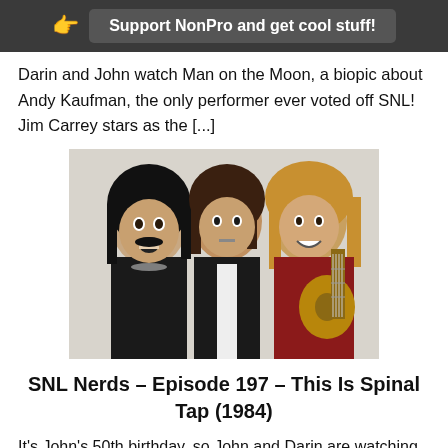Support NonPro and get cool stuff!
Darin and John watch Man on the Moon, a biopic about Andy Kaufman, the only performer ever voted off SNL! Jim Carrey stars as the [...]
[Figure (photo): Three rock musicians posing together — a band photo of Spinal Tap members, featuring one with dark hair and open mouth on the left, one with medium brown hair in center, and one with long blonde hair holding a guitar on the right.]
SNL Nerds – Episode 197 – This Is Spinal Tap (1984)
It's John's 50th birthday, so John and Darin are watching one of